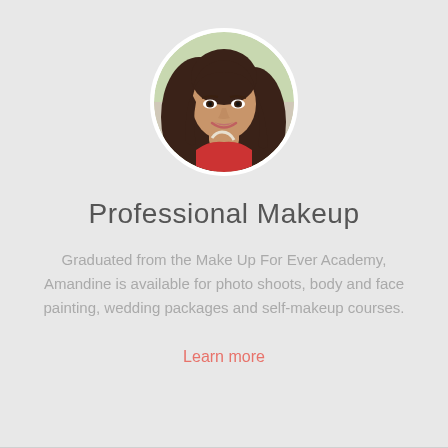[Figure (photo): Circular profile photo of a young woman with long dark hair, smiling, wearing a red top, photographed outdoors.]
Professional Makeup
Graduated from the Make Up For Ever Academy, Amandine is available for photo shoots, body and face painting, wedding packages and self-makeup courses.
Learn more